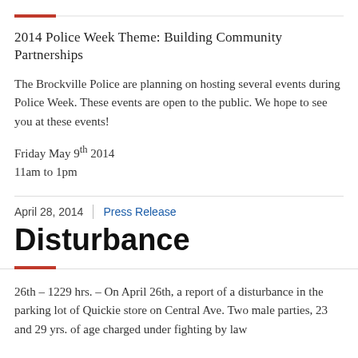2014 Police Week Theme: Building Community Partnerships
The Brockville Police are planning on hosting several events during Police Week. These events are open to the public. We hope to see you at these events!
Friday May 9th 2014
11am to 1pm
April 28, 2014 | Press Release
Disturbance
26th – 1229 hrs. – On April 26th, a report of a disturbance in the parking lot of Quickie store on Central Ave. Two male parties, 23 and 29 yrs. of age charged under fighting by law